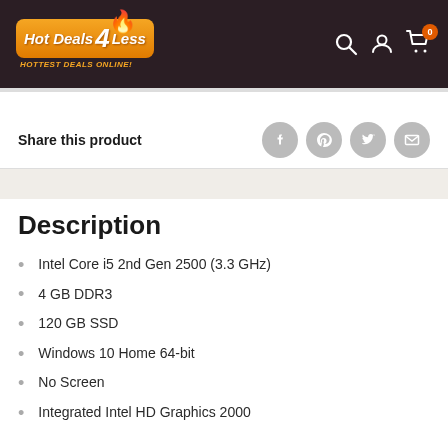[Figure (logo): Hot Deals 4 Less logo — orange badge with flame, subtitle HOTTEST DEALS ONLINE!]
Share this product
Description
Intel Core i5 2nd Gen 2500 (3.3 GHz)
4 GB DDR3
120 GB SSD
Windows 10 Home 64-bit
No Screen
Integrated Intel HD Graphics 2000